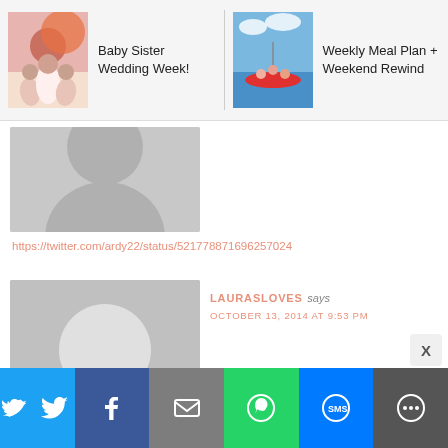[Figure (screenshot): Navigation bar with two post thumbnails: 'Baby Sister Wedding Week!' with a wedding photo, and 'Weekly Meal Plan + Weekend Rewind' with a kayaking photo]
[Figure (photo): Gray default avatar silhouette (partial, top cut off)]
https://twitter.com/ardy22/status/521778871696257024
[Figure (photo): Gray default avatar silhouette for LAURASLOVES comment]
LAURASLOVES says
OCTOBER 13, 2014 AT 9:53 PM
[Figure (screenshot): Social share bar with Twitter, Facebook, Email, WhatsApp, SMS, and More buttons]